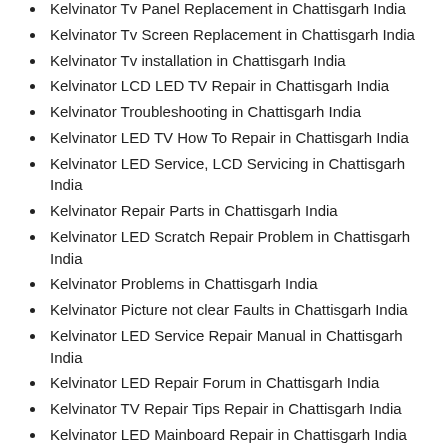Kelvinator Tv Panel Replacement in Chattisgarh India
Kelvinator Tv Screen Replacement in Chattisgarh India
Kelvinator Tv installation in Chattisgarh India
Kelvinator LCD LED TV Repair in Chattisgarh India
Kelvinator Troubleshooting in Chattisgarh India
Kelvinator LED TV How To Repair in Chattisgarh India
Kelvinator LED Service, LCD Servicing in Chattisgarh India
Kelvinator Repair Parts in Chattisgarh India
Kelvinator LED Scratch Repair Problem in Chattisgarh India
Kelvinator Problems in Chattisgarh India
Kelvinator Picture not clear Faults in Chattisgarh India
Kelvinator LED Service Repair Manual in Chattisgarh India
Kelvinator LED Repair Forum in Chattisgarh India
Kelvinator TV Repair Tips Repair in Chattisgarh India
Kelvinator LED Mainboard Repair in Chattisgarh India
Kelvinator Repair Guide in Chattisgarh India
Kelvinator LCD Television Screen Repair in Chattisgarh India